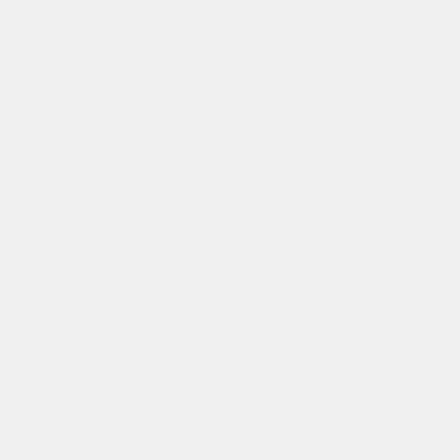Hig Po as the se mo vu me reg to job los du to AI an rob Wi Sa